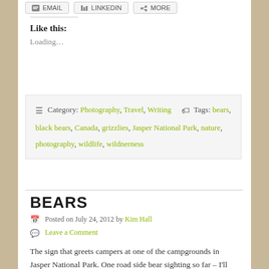Like this:
Loading…
Category: Photography, Travel, Writing  Tags: bears, black bears, Canada, grizzlies, Jasper National Park, nature, photography, wildlife, wildnerness
BEARS
Posted on July 24, 2012 by Kim Hall
Leave a Comment
The sign that greets campers at one of the campgrounds in Jasper National Park. One road side bear sighting so far – I'll post